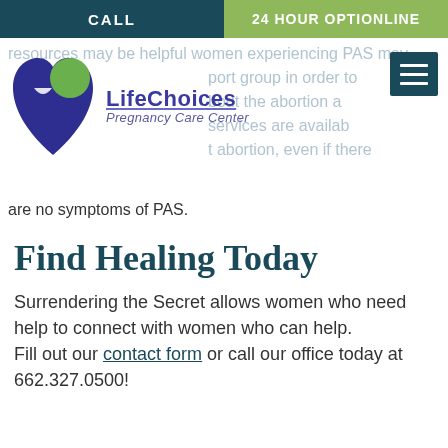CALL | 24 HOUR OPTIONLINE
[Figure (logo): LifeChoices Pregnancy Care Center logo with blue and green heart shape]
are no symptoms of PAS.
Find Healing Today
Surrendering the Secret allows women who need help to connect with women who can help. Fill out our contact form or call our office today at 662.327.0500!